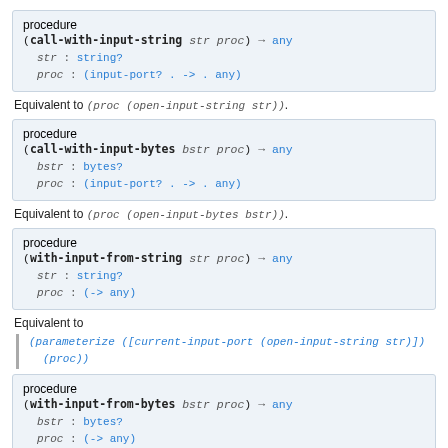(call-with-input-string str proc) → any
  str : string?
  proc : (input-port? . -> . any)
procedure
Equivalent to (proc (open-input-string str)).
(call-with-input-bytes bstr proc) → any
  bstr : bytes?
  proc : (input-port? . -> . any)
procedure
Equivalent to (proc (open-input-bytes bstr)).
(with-input-from-string str proc) → any
  str : string?
  proc : (-> any)
procedure
Equivalent to
(parameterize ([current-input-port (open-input-string str)])
  (proc))
(with-input-from-bytes bstr proc) → any
  bstr : bytes?
  proc : (-> any)
procedure